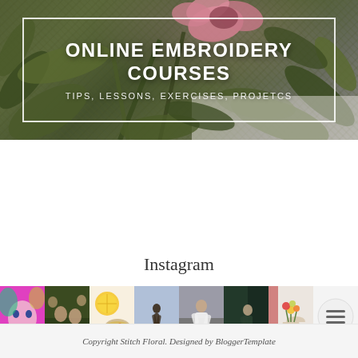[Figure (photo): Hero banner with embroidered floral background showing green leaves and a pink flower, with a white rectangular border overlay.]
ONLINE EMBROIDERY COURSES
TIPS, LESSONS, EXERCISES, PROJETCS
Instagram
[Figure (photo): A row of 8 Instagram photos including colorful pop-art face, people at table, bowl of food, person on beach, person in white shirt, person in green room, flowers in vase, and a hamburger menu icon.]
Copyright Stitch Floral. Designed by BloggerTemplate